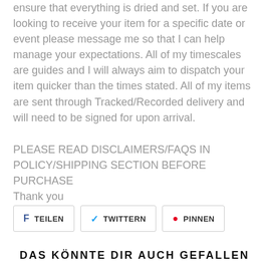ensure that everything is dried and set. If you are looking to receive your item for a specific date or event please message me so that I can help manage your expectations. All of my timescales are guides and I will always aim to dispatch your item quicker than the times stated. All of my items are sent through Tracked/Recorded delivery and will need to be signed for upon arrival.
PLEASE READ DISCLAIMERS/FAQS IN POLICY/SHIPPING SECTION BEFORE PURCHASE Thank you
[Figure (infographic): Three social sharing buttons: Facebook (TEILEN), Twitter (TWITTERN), Pinterest (PINNEN)]
DAS KÖNNTE DIR AUCH GEFALLEN